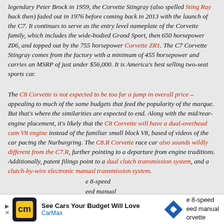legendary Peter Brock in 1959, the Corvette Stingray (also spelled Sting Ray back then) faded out in 1976 before coming back in 2013 with the launch of the C7. It continues to serve as the entry level nameplate of the Corvette family, which includes the wide-bodied Grand Sport, then 650 horsepower Z06, and topped out by the 755 horsepower Corvette ZR1. The C7 Corvette Stingray comes from the factory with a minimum of 455 horsepower and carries an MSRP of just under $56,000. It is America's best selling two-seat sports car.
The C8 Corvette is not expected to be too far a jump in overall price – appealing to much of the same budgets that feed the popularity of the marque. But that's where the similarities are expected to end. Along with the mid/rear-engine placement, it's likely that the C8 Corvette will have a dual-overhead cam V8 engine instead of the familiar small block V8, based of videos of the car pacing the Nurburgring. The C8.R Corvette race car also sounds wildly different from the C7.R, further pointing to a departure from engine traditions. Additionally, patent filings point to a dual clutch transmission system, and a clutch-by-wire electronic manual transmission system.
e 8-speed eed manual Corvette